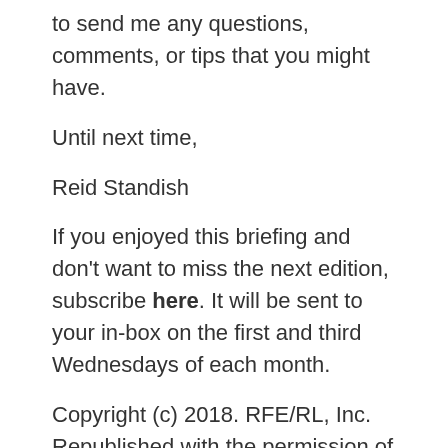to send me any questions, comments, or tips that you might have.
Until next time,
Reid Standish
If you enjoyed this briefing and don't want to miss the next edition, subscribe here. It will be sent to your in-box on the first and third Wednesdays of each month.
Copyright (c) 2018. RFE/RL, Inc. Republished with the permission of Radio Free Europe/Radio Liberty, Washington DC 20036